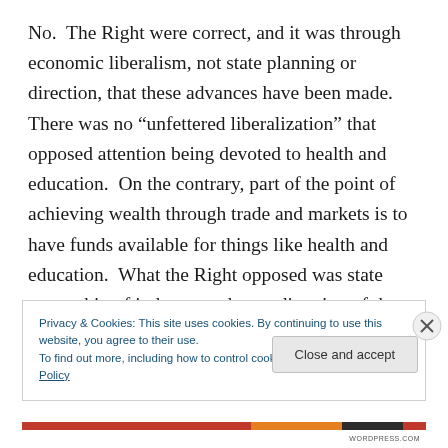No.  The Right were correct, and it was through economic liberalism, not state planning or direction, that these advances have been made.  There was no “unfettered liberalization” that opposed attention being devoted to health and education.  On the contrary, part of the point of achieving wealth through trade and markets is to have funds available for things like health and education.  What the Right opposed was state ownership of industry and state direction of the economy by central planning.  This is a straw man set up by the UN body so they can claim that
Privacy & Cookies: This site uses cookies. By continuing to use this website, you agree to their use.
To find out more, including how to control cookies, see here: Cookie Policy
Close and accept